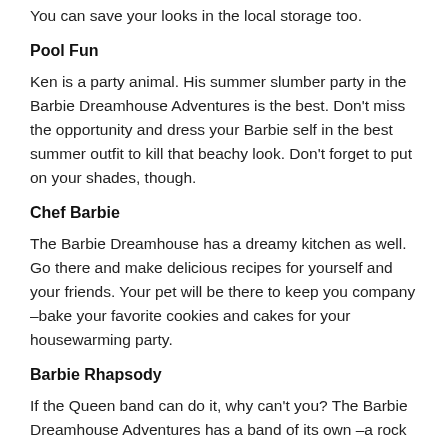You can save your looks in the local storage too.
Pool Fun
Ken is a party animal. His summer slumber party in the Barbie Dreamhouse Adventures is the best. Don't miss the opportunity and dress your Barbie self in the best summer outfit to kill that beachy look. Don't forget to put on your shades, though.
Chef Barbie
The Barbie Dreamhouse has a dreamy kitchen as well. Go there and make delicious recipes for yourself and your friends. Your pet will be there to keep you company –bake your favorite cookies and cakes for your housewarming party.
Barbie Rhapsody
If the Queen band can do it, why can't you? The Barbie Dreamhouse Adventures has a band of its own –a rock one.